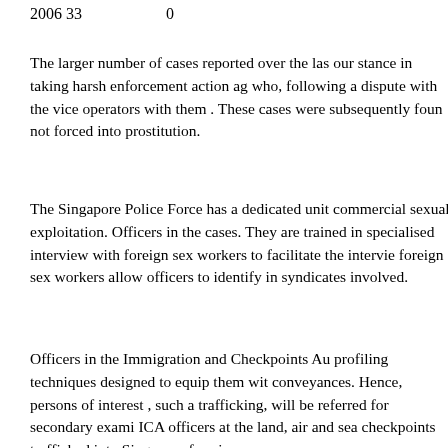2006 33    0
The larger number of cases reported over the last... our stance in taking harsh enforcement action ag... who, following a dispute with the vice operators, with them . These cases were subsequently foun... not forced into prostitution.
The Singapore Police Force has a dedicated unit... commercial sexual exploitation. Officers in the ... cases. They are trained in specialised interview ... with foreign sex workers to facilitate the intervi... foreign sex workers allow officers to identify in... syndicates involved.
Officers in the Immigration and Checkpoints Au... profiling techniques designed to equip them wit... conveyances. Hence, persons of interest , such a... trafficking, will be referred for secondary exami... ICA officers at the land, air and sea checkpoints... trafficked into Singapore for vice purposes.